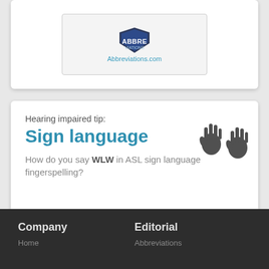[Figure (logo): Abbreviations.com logo with shield icon and URL text 'Abbreviations.com']
Hearing impaired tip:
Sign language
How do you say WLW in ASL sign language fingerspelling?
[Figure (illustration): Two hands making sign language gestures icon]
Company | Editorial